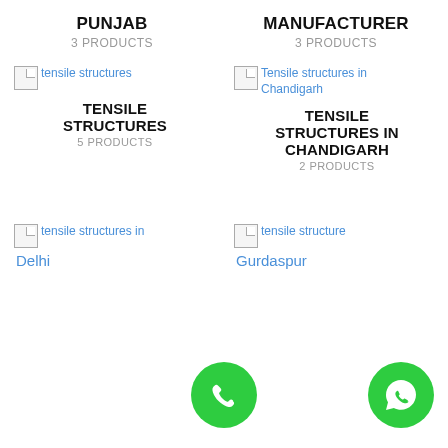PUNJAB
3 PRODUCTS
MANUFACTURER
3 PRODUCTS
[Figure (photo): Broken image placeholder for 'tensile structures']
TENSILE STRUCTURES
5 PRODUCTS
[Figure (photo): Broken image placeholder for 'Tensile structures in Chandigarh']
TENSILE STRUCTURES IN CHANDIGARH
2 PRODUCTS
[Figure (photo): Broken image placeholder for 'tensile structures in Delhi']
Delhi
[Figure (photo): Broken image placeholder for 'tensile structures Gurdaspur']
Gurdaspur